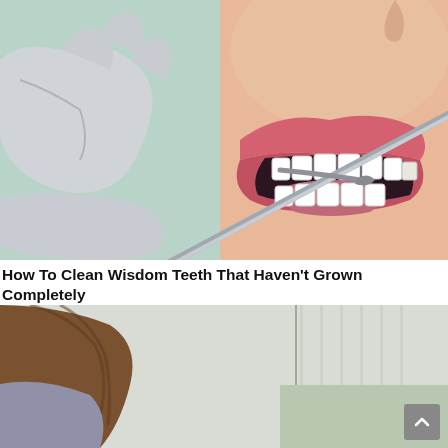[Figure (illustration): Close-up illustration of a dental procedure showing gloved hands holding dental instruments near an open mouth with visible teeth, against a light teal/green background]
How To Clean Wisdom Teeth That Haven't Grown Completely
[Figure (illustration): Illustration showing two figures: one with brown hair on the left and a red-haired woman on the right appearing to be in pain holding her jaw, with a light background]